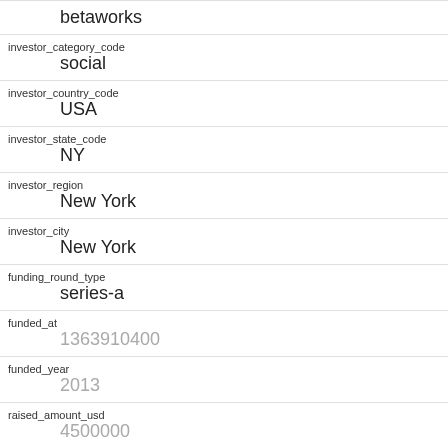| field | value |
| --- | --- |
|  | betaworks |
| investor_category_code | social |
| investor_country_code | USA |
| investor_state_code | NY |
| investor_region | New York |
| investor_city | New York |
| funding_round_type | series-a |
| funded_at | 1363910400 |
| funded_year | 2013 |
| raised_amount_usd | 4500000 |
| gristHelper_Display2 |  |